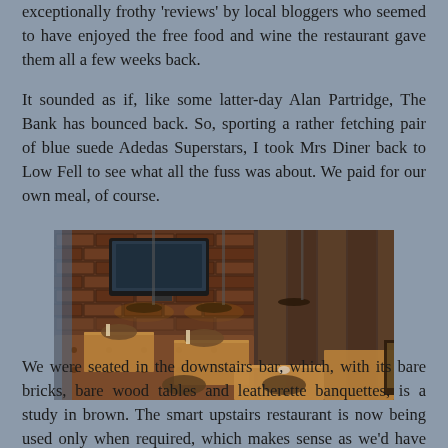exceptionally frothy 'reviews' by local bloggers who seemed to have enjoyed the free food and wine the restaurant gave them all a few weeks back.
It sounded as if, like some latter-day Alan Partridge, The Bank has bounced back. So, sporting a rather fetching pair of blue suede Adedas Superstars, I took Mrs Diner back to Low Fell to see what all the fuss was about. We paid for our own meal, of course.
[Figure (photo): Interior of a restaurant/bar showing bare brick walls, a flat-screen TV mounted on the wall, pendant lights hanging from the ceiling, brown leatherette banquette seating, bare wood tables and chairs arranged in the dining area.]
We were seated in the downstairs bar, which, with its bare bricks, bare wood tables and leatherette banquettes, is a study in brown. The smart upstairs restaurant is now being used only when required, which makes sense as we'd have been lonely up there;